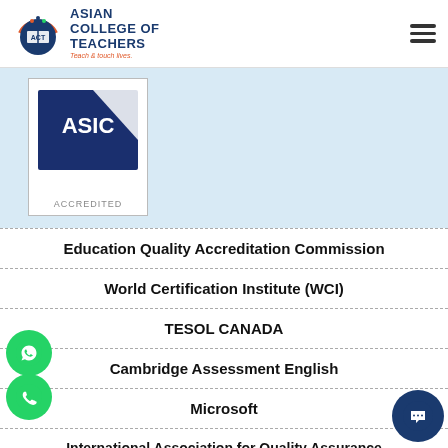[Figure (logo): Asian College of Teachers logo with ACT initials and tagline 'Teach & touch lives']
[Figure (logo): ASIC Accredited badge/seal in navy blue and white]
Education Quality Accreditation Commission
World Certification Institute (WCI)
TESOL CANADA
Cambridge Assessment English
Microsoft
International Association for Quality Assurance in Higher Education (QAHE)
EIU - Paris